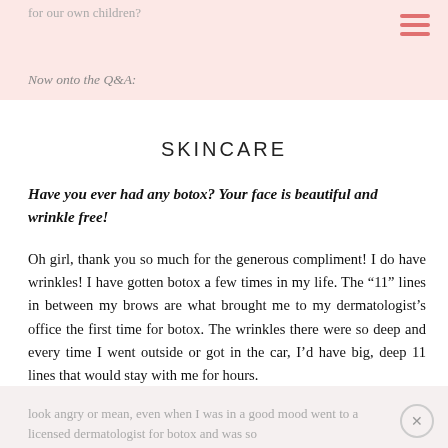for our own children?
Now onto the Q&A:
SKINCARE
Have you ever had any botox?  Your face is beautiful and wrinkle free!
Oh girl, thank you so much for the generous compliment!  I do have wrinkles!  I have gotten botox a few times in my life.  The “11” lines in between my brows are what brought me to my dermatologist’s office the first time for botox.  The wrinkles there were so deep and every time I went outside or got in the car, I’d have big, deep 11 lines that would stay with me for hours.
I felt conscious about that and also thought that it made me
look angry or mean, even when I was in a good mood went to a licensed dermatologist for botox and was so